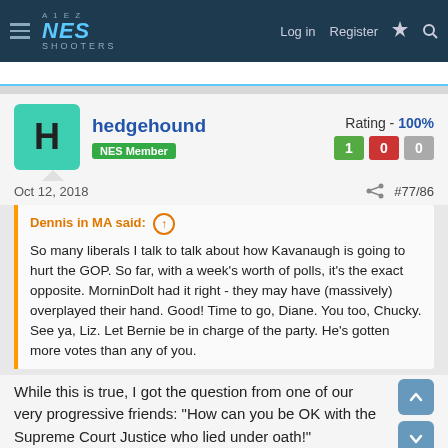NES SHOOTERS — Log in   Register
hedgehound
NES Member
Rating - 100%
Oct 12, 2018   #77/86
Dennis in MA said: ↑
So many liberals I talk to talk about how Kavanaugh is going to hurt the GOP. So far, with a week's worth of polls, it's the exact opposite. MorninDolt had it right - they may have (massively) overplayed their hand. Good! Time to go, Diane. You too, Chucky. See ya, Liz. Let Bernie be in charge of the party. He's gotten more votes than any of you.
While this is true, I got the question from one of our very progressive friends: "How can you be OK with the Supreme Court Justice who lied under oath!"